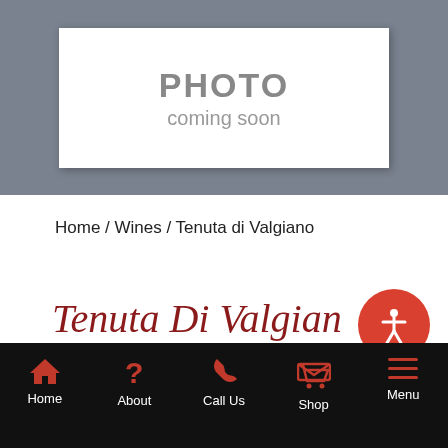[Figure (screenshot): Photo placeholder image with grey background and white center panel showing 'PHOTO coming soon' text]
Home / Wines / Tenuta di Valgiano
Tenuta Di Valgiano
[Figure (other): Red circular accessibility icon button with white person/figure symbol]
Home | About | Call Us | Shop | Menu